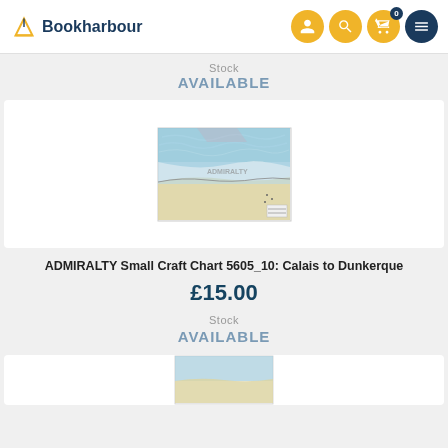Bookharbour
Stock
AVAILABLE
[Figure (photo): Thumbnail of ADMIRALTY nautical chart showing coastal waters near Calais/Dunkerque with blue sea and beige land areas]
ADMIRALTY Small Craft Chart 5605_10: Calais to Dunkerque
£15.00
Stock
AVAILABLE
[Figure (photo): Partial thumbnail of another ADMIRALTY nautical chart at bottom of page]